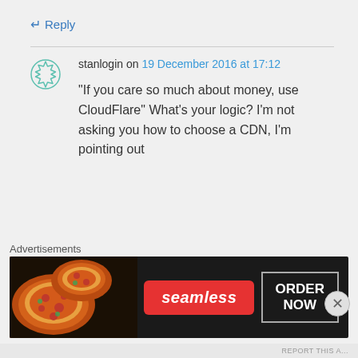↵ Reply
stanlogin on 19 December 2016 at 17:12
“If you care so much about money, use CloudFlare” What’s your logic? I’m not asking you how to choose a CDN, I’m pointing out
Advertisements
[Figure (photo): Seamless food delivery advertisement banner showing pizza on the left, Seamless logo in red in the center, and ORDER NOW button on the right, on a dark background]